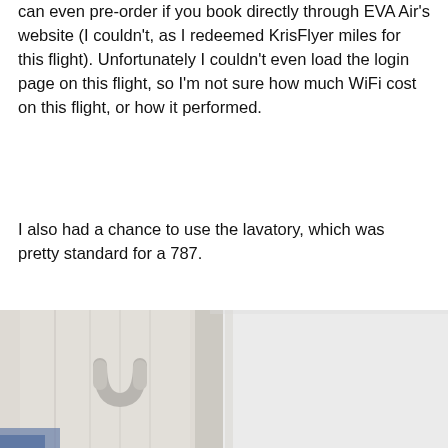can even pre-order if you book directly through EVA Air's website (I couldn't, as I redeemed KrisFlyer miles for this flight). Unfortunately I couldn't even load the login page on this flight, so I'm not sure how much WiFi cost on this flight, or how it performed.
I also had a chance to use the lavatory, which was pretty standard for a 787.
[Figure (photo): Close-up photo of an aircraft lavatory door handle and door frame, showing white/cream colored panels. The lavatory interior is partially visible with light blue accent lighting at the bottom left.]